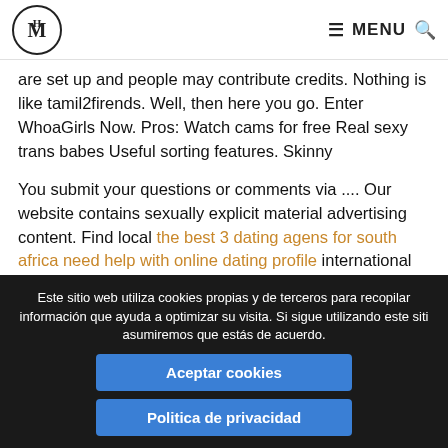MH | MENU [search icon]
are set up and people may contribute credits. Nothing is like tamil2firends. Well, then here you go. Enter WhoaGirls Now. Pros: Watch cams for free Real sexy trans babes Useful sorting features. Skinny
You submit your questions or comments via .... Our website contains sexually explicit material advertising content. Find local the best 3 dating agens for south africa need help with online dating profile international girls to do a live webcam chat with real hot .... Do you like to take your time and write longer, more informative posts, dealing with issues of greater consequence? Too many choices exist for watching sex
Este sitio web utiliza cookies propias y de terceros para recopilar información que ayuda a optimizar su visita. Si sigue utilizando este sitio asumiremos que estás de acuerdo.
Aceptar cookies
Politica de privacidad